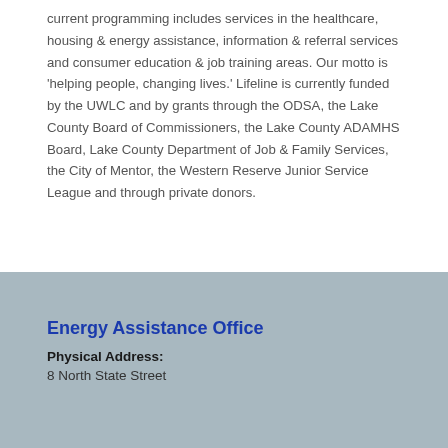current programming includes services in the healthcare, housing & energy assistance, information & referral services and consumer education & job training areas. Our motto is 'helping people, changing lives.' Lifeline is currently funded by the UWLC and by grants through the ODSA, the Lake County Board of Commissioners, the Lake County ADAMHS Board, Lake County Department of Job & Family Services, the City of Mentor, the Western Reserve Junior Service League and through private donors.
Energy Assistance Office
Physical Address:
8 North State Street